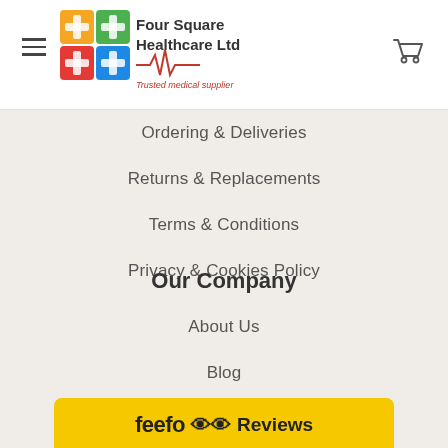Four Square Healthcare Ltd — Trusted medical supplier
Ordering & Deliveries
Returns & Replacements
Terms & Conditions
Privacy & Cookies Policy
Our Company
About Us
Blog
Brand Partners
Contact Us
Gift Certificates
Sitemap
[Figure (logo): Feefo Reviews yellow button at bottom of page]